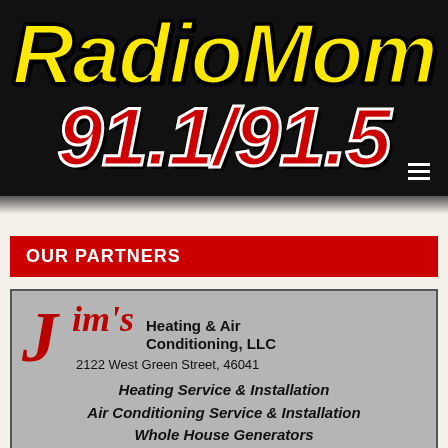[Figure (logo): RadioMom 91.1/91.5 radio station logo on black background with yellow RadioMom text and red 91.1/91.5 frequency numbers, with hamburger menu icon]
OUR PARTNERS
[Figure (logo): Jim's Heating & Air Conditioning, LLC advertisement - gray background with red cursive Jim's logo, address 2122 West Green Street 46041, services: Heating Service & Installation, Air Conditioning Service & Installation, Whole House Generators]